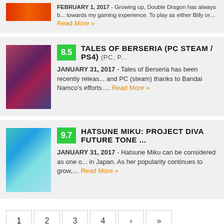FEBRUARY 1, 2017 - Growing up, Double Dragon has always been important towards my gaming experience. To play as either Billy or… Read More »
8.5 TALES OF BERSERIA (PC STEAM / PS4) (PC, PS4)
JANUARY 31, 2017 - Tales of Berseria has been recently released and PC (steam) thanks to Bandai Namco's efforts…. Read More »
9.7 HATSUNE MIKU: PROJECT DIVA FUTURE TONE
JANUARY 31, 2017 - Hatsune Miku can be considered as one of the biggest music icons in Japan. As her popularity continues to grow,… Read More »
1 2 3 4 › »